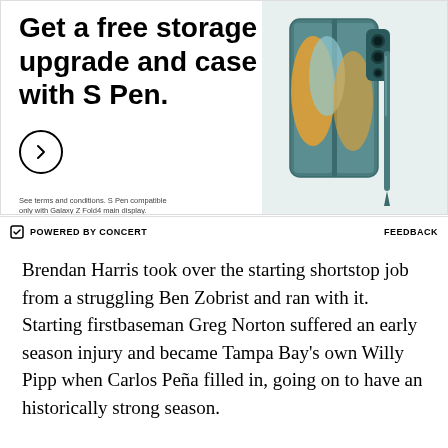[Figure (advertisement): Samsung Galaxy Z Fold4 advertisement showing a teal/blue foldable phone with S Pen. Text reads 'Get a free storage upgrade and case with S Pen.' with a circular arrow button and fine print: 'See terms and conditions. S Pen compatible only with Galaxy Z Fold4 main display.']
POWERED BY CONCERT    FEEDBACK
Brendan Harris took over the starting shortstop job from a struggling Ben Zobrist and ran with it. Starting firstbaseman Greg Norton suffered an early season injury and became Tampa Bay's own Willy Pipp when Carlos Peña filled in, going on to have an historically strong season.
In terms of how the trio of Rays prospects (Delmon Young, Elijah Dukes, and B.J. Upton) were doing,